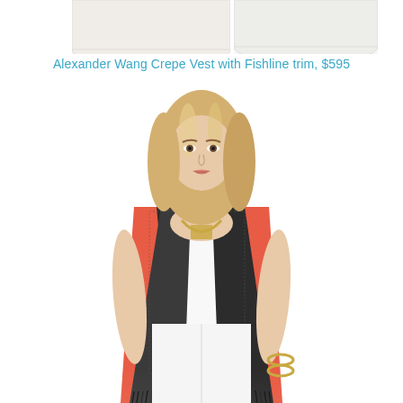[Figure (photo): Top portion of previous product images – two lamp/shade shapes cropped at top of page, light beige/white]
Alexander Wang Crepe Vest with Fishline trim, $595
[Figure (photo): A blonde female model wearing an Alexander Wang Crepe Vest with Fishline trim. The vest is a black and white tweed/boucle fabric with coral/red-orange side panels and black fringe at the hem. She wears it open over a white tank top and white jeans, with a gold chain necklace and gold bangles. The image is cropped at the bottom.]